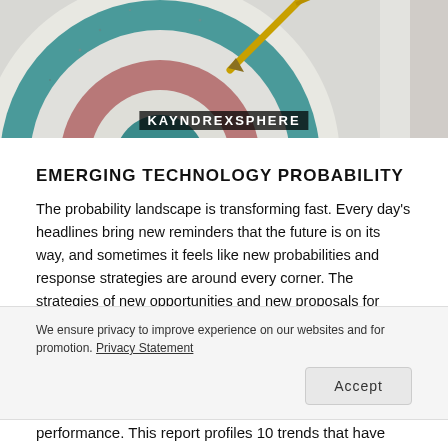[Figure (photo): Close-up photo of a dartboard with teal/green and pink/mauve rings, with a dart or arrow visible in the upper right. Watermark text 'KAYNDREXSPHERE' overlaid at the bottom center.]
EMERGING TECHNOLOGY PROBABILITY
The probability landscape is transforming fast. Every day's headlines bring new reminders that the future is on its way, and sometimes it feels like new probabilities and response strategies are around every corner. The strategies of new opportunities and new proposals for probability leaders— indeed, all
We ensure privacy to improve experience on our websites and for promotion. Privacy Statement
Accept
performance. This report profiles 10 trends that have